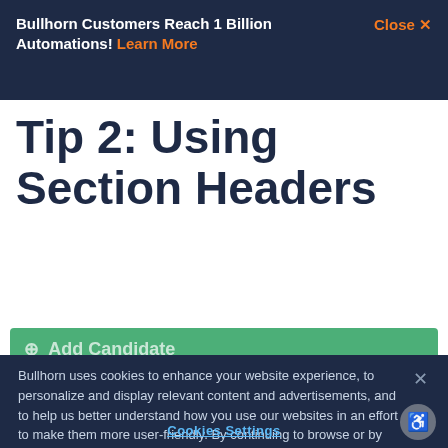Bullhorn Customers Reach 1 Billion Automations! Learn More   Close X
Tip 2: Using Section Headers
[Figure (screenshot): Green 'Add Candidate' button partially visible]
Bullhorn uses cookies to enhance your website experience, to personalize and display relevant content and advertisements, and to help us better understand how you use our websites in an effort to make them more user-friendly. By continuing to browse or by closing out of this message, you indicate your agreement. To set your own preferences, click "Cookie Settings" and you can learn more about the cookies we use by reviewing our cookie policy.
Cookies Settings